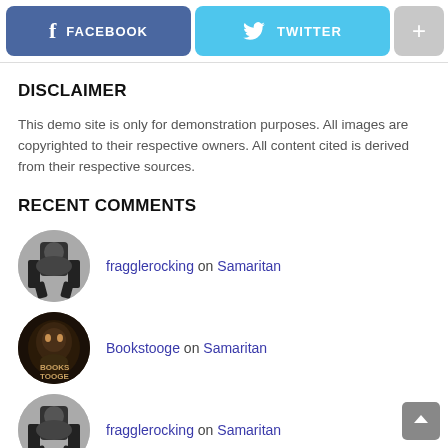[Figure (screenshot): Top navigation bar with Facebook, Twitter, and + buttons]
DISCLAIMER
This demo site is only for demonstration purposes. All images are copyrighted to their respective owners. All content cited is derived from their respective sources.
RECENT COMMENTS
fragglerocking on Samaritan
Bookstooge on Samaritan
fragglerocking on Samaritan